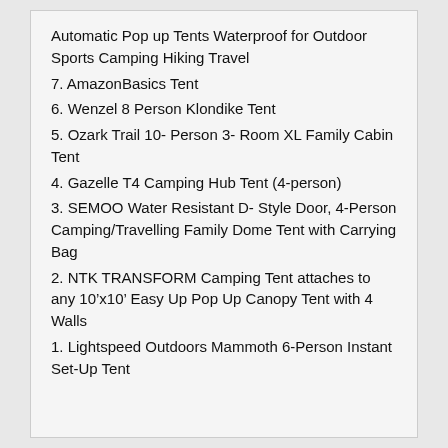Automatic Pop up Tents Waterproof for Outdoor Sports Camping Hiking Travel
7. AmazonBasics Tent
6. Wenzel 8 Person Klondike Tent
5. Ozark Trail 10- Person 3- Room XL Family Cabin Tent
4. Gazelle T4 Camping Hub Tent (4-person)
3. SEMOO Water Resistant D- Style Door, 4-Person Camping/Travelling Family Dome Tent with Carrying Bag
2. NTK TRANSFORM Camping Tent attaches to any 10’x10’ Easy Up Pop Up Canopy Tent with 4 Walls
1. Lightspeed Outdoors Mammoth 6-Person Instant Set-Up Tent